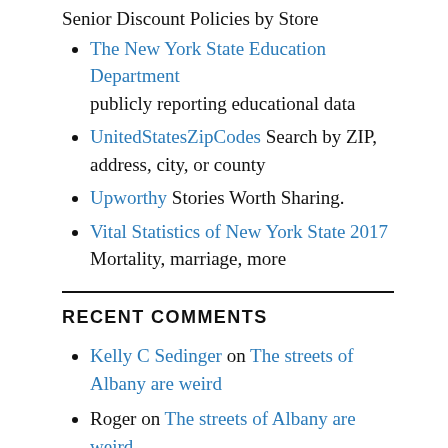Senior Discount Policies by Store
The New York State Education Department publicly reporting educational data
UnitedStatesZipCodes Search by ZIP, address, city, or county
Upworthy Stories Worth Sharing.
Vital Statistics of New York State 2017 Mortality, marriage, more
RECENT COMMENTS
Kelly C Sedinger on The streets of Albany are weird
Roger on The streets of Albany are weird
Kelly C Sedinger on The streets of Alb…